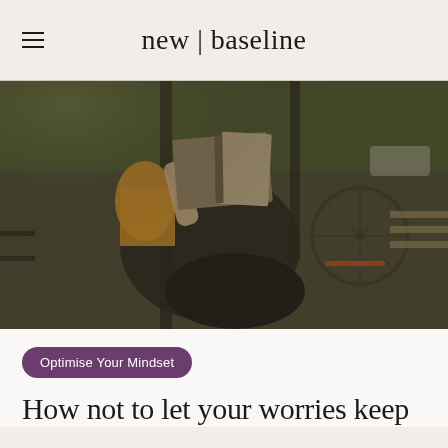new | baseline
[Figure (photo): Person reclining outdoors holding an open book over their face, wearing a yellow top, with a bicycle and benches visible in the background. Moody, muted outdoor cafe or park setting.]
Optimise Your Mindset
How not to let your worries keep